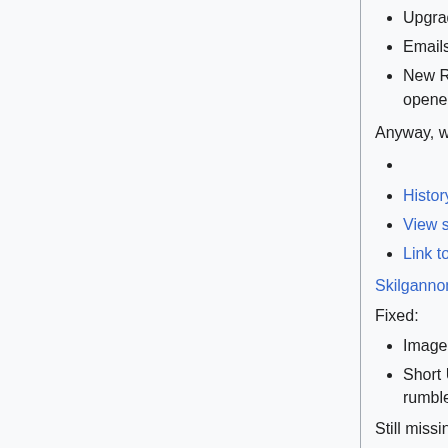Upgraded mediawiki
Emails working again
New Robocode-specific captcha, so I've re-opened signups.
Anyway, welcome back, and happy Robocoding!
History
View source
Link to
Skilgannon (talk)13:04, 19 April 2020
Fixed:
Images on the old wiki
Short URLs again, same as before, so the rumble clients should be happy.
Still missing:
RumbleStats